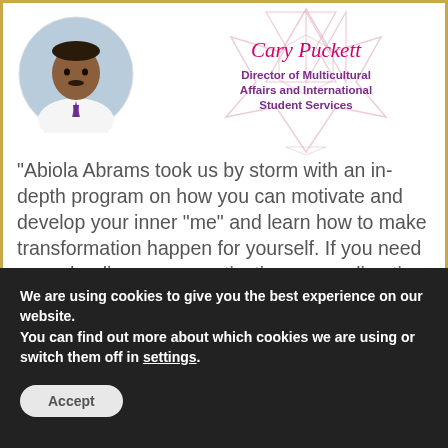[Figure (photo): Headshot of a man in white shirt and purple tie, circular crop, on light blue background]
[Figure (infographic): Decorative star/polygon geometric graphic in light pink/rose outline with person's name in pink cursive and title in purple text: Director of Multicultural Affairs and International Student Services]
“Abiola Abrams took us by storm with an in-depth program on how you can motivate and develop your inner “me” and learn how to make transformation happen for yourself. If you need some healing, some motivation, some direction on personal life issues, then working with Abiola is for you!
We are using cookies to give you the best experience on our website.
You can find out more about which cookies we are using or switch them off in settings.